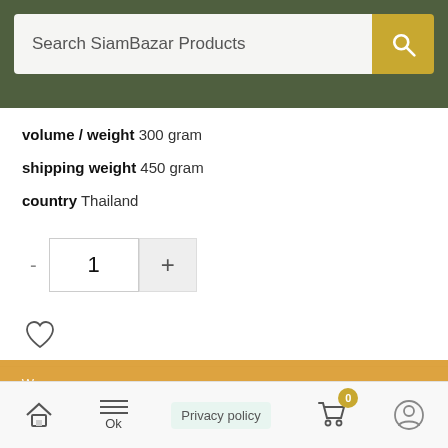[Figure (screenshot): Search bar with 'Search SiamBazar Products' placeholder on dark green leafy background]
volume / weight 300 gram
shipping weight 450 gram
country Thailand
1 (quantity selector with - and + buttons)
[Figure (illustration): Heart/wishlist icon (outline heart)]
SKU: ELLA001
Categories: Body care, Slimming
Brand: ELLA
We use cookies to ensure that we give you the best experience on our website. If you continue to use this site we will assume that you are happy with it.
+ Add To Cart
Ok  Privacy policy  0